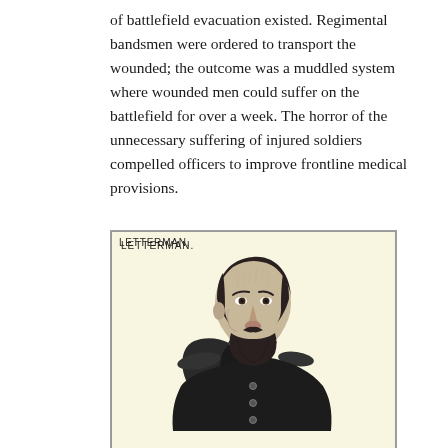of battlefield evacuation existed. Regimental bandsmen were ordered to transport the wounded; the outcome was a muddled system where wounded men could suffer on the battlefield for over a week. The horror of the unnecessary suffering of injured soldiers compelled officers to improve frontline medical provisions.
[Figure (illustration): A black-and-white engraved portrait of Letterman, a bearded man wearing a military uniform, shown from the shoulders up in a three-quarter view. The portrait is labeled 'LETTERMAN.' in the upper left corner. The background of the portrait area is a light cream/yellow color.]